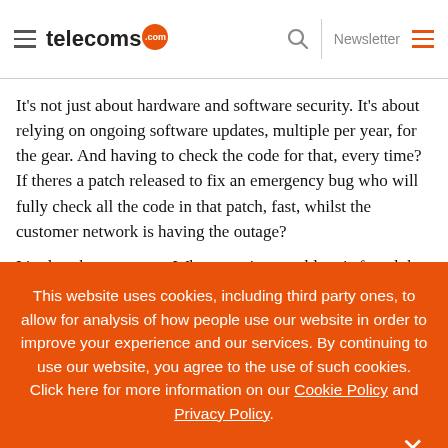telecoms.com — Newsletter
It’s not just about hardware and software security. It’s about relying on ongoing software updates, multiple per year, for the gear. And having to check the code for that, every time? If theres a patch released to fix an emergency bug who will fully check all the code in that patch, fast, whilst the customer network is having the outage?
It’s also about support. When a serious problem is found the
This website uses cookies, including third party ones, to allow for analysis of how people use our website in order to improve your experience and our services. By continuing to use our website, you agree to the use of such cookies. Click here for more information on our Cookie Policy and Privacy Policy.